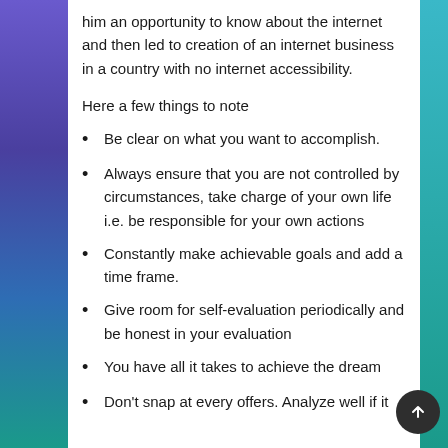him an opportunity to know about the internet and then led to creation of an internet business in a country with no internet accessibility.
Here a few things to note
Be clear on what you want to accomplish.
Always ensure that you are not controlled by circumstances, take charge of your own life i.e. be responsible for your own actions
Constantly make achievable goals and add a time frame.
Give room for self-evaluation periodically and be honest in your evaluation
You have all it takes to achieve the dream
Don't snap at every offers. Analyze well if it